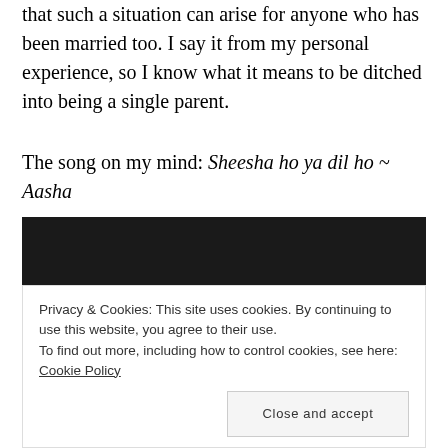that such a situation can arise for anyone who has been married too. I say it from my personal experience, so I know what it means to be ditched into being a single parent.
The song on my mind: Sheesha ho ya dil ho ~ Aasha
[Figure (other): Embedded video player with dark background]
Privacy & Cookies: This site uses cookies. By continuing to use this website, you agree to their use.
To find out more, including how to control cookies, see here: Cookie Policy